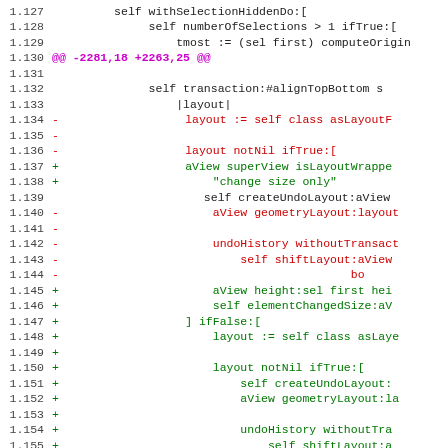[Figure (screenshot): Diff/patch view of source code showing removed (red) and added (green) lines in a Smalltalk-like language. Lines 1.127-1.158 are shown with a hunk header at 1.130. Removed lines marked with '-' appear in red, added lines with '+' in green, context lines in black.]